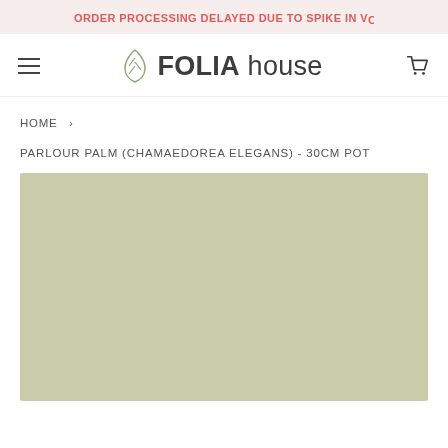ORDER PROCESSING DELAYED DUE TO SPIKE IN VO
[Figure (logo): FOLIA house logo with a leaf icon]
HOME >
PARLOUR PALM (CHAMAEDOREA ELEGANS) - 30CM POT
[Figure (photo): Product image placeholder - sage green/olive colored background rectangle]